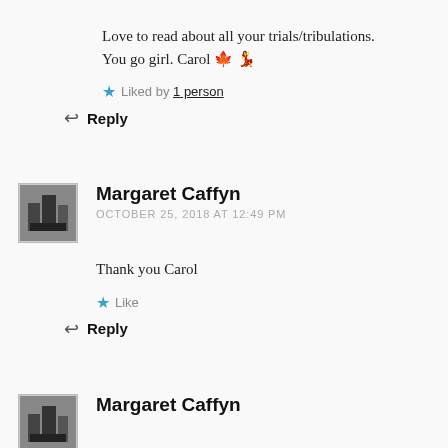Love to read about all your trials/tribulations. You go girl. Carol 🍁 💃
★ Liked by 1 person
↩ Reply
Margaret Caffyn
OCTOBER 25, 2018 AT 12:49 PM
Thank you Carol
★ Like
↩ Reply
Margaret Caffyn